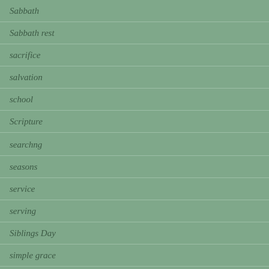Sabbath
Sabbath rest
sacrifice
salvation
school
Scripture
searchng
seasons
service
serving
Siblings Day
simple grace